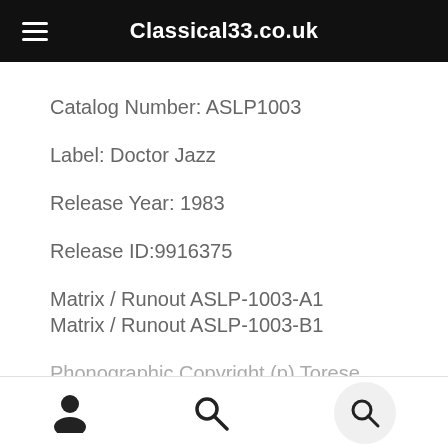Classical33.co.uk
Catalog Number: ASLP1003
Label: Doctor Jazz
Release Year: 1983
Release ID:9916375
Matrix / Runout ASLP-1003-A1
Matrix / Runout ASLP-1003-B1
Phonographic Copyright (p) Torese